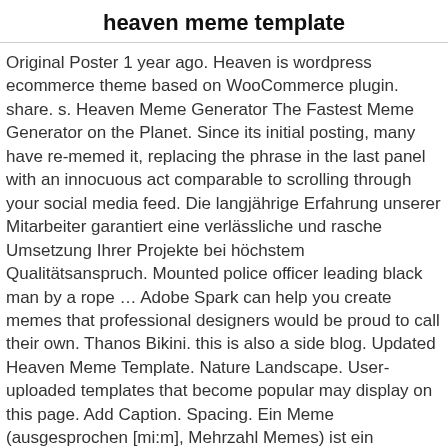heaven meme template
Original Poster 1 year ago. Heaven is wordpress ecommerce theme based on WooCommerce plugin. share. s. Heaven Meme Generator The Fastest Meme Generator on the Planet. Since its initial posting, many have re-memed it, replacing the phrase in the last panel with an innocuous act comparable to scrolling through your social media feed. Die langjährige Erfahrung unserer Mitarbeiter garantiert eine verlässliche und rasche Umsetzung Ihrer Projekte bei höchstem Qualitätsanspruch. Mounted police officer leading black man by a rope … Adobe Spark can help you create memes that professional designers would be proud to call their own. Thanos Bikini. this is also a side blog. Updated Heaven Meme Template. Nature Landscape. User-uploaded templates that become popular may display on this page. Add Caption. Spacing. Ein Meme (ausgesprochen [mi:m], Mehrzahl Memes) ist ein spezieller, kreativ geschaffener Bewusstseinsinhalt, der